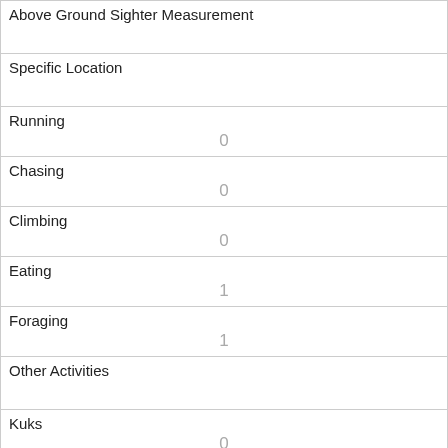| Above Ground Sighter Measurement |  |
| Specific Location |  |
| Running | 0 |
| Chasing | 0 |
| Climbing | 0 |
| Eating | 1 |
| Foraging | 1 |
| Other Activities |  |
| Kuks | 0 |
| Quaas | 0 |
| Moans |  |